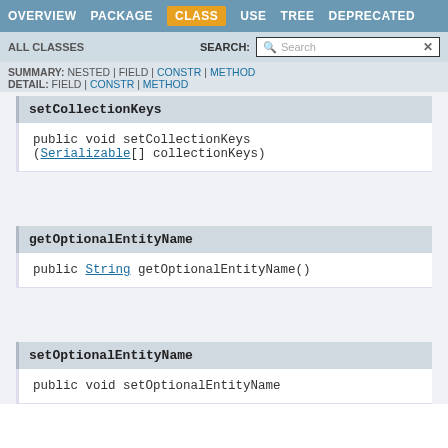OVERVIEW  PACKAGE  CLASS  USE  TREE  DEPRECATED
ALL CLASSES   SEARCH:  [Search]
SUMMARY: NESTED | FIELD | CONSTR | METHOD
DETAIL: FIELD | CONSTR | METHOD
setCollectionKeys
public void setCollectionKeys(Serializable[] collectionKeys)
getOptionalEntityName
public String getOptionalEntityName()
setOptionalEntityName
public void setOptionalEntityName